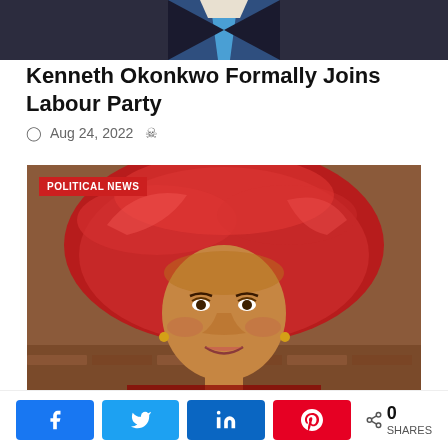[Figure (photo): Top portion of a man in a dark suit with blue tie, cropped at the shoulders]
Kenneth Okonkwo Formally Joins Labour Party
Aug 24, 2022
[Figure (photo): Close-up portrait of a Nigerian woman wearing a large red gele (head wrap) and smiling, with a 'POLITICAL NEWS' badge overlay in the top-left corner]
0 SHARES — Facebook, Twitter, LinkedIn, Pinterest share buttons